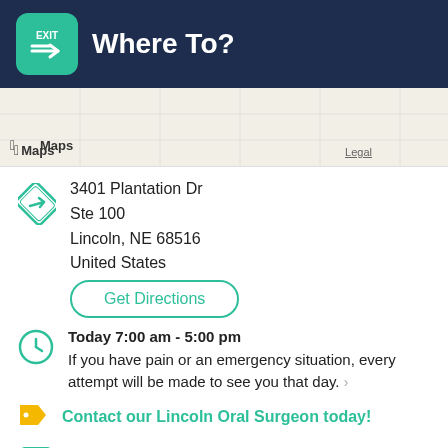Where To?
[Figure (screenshot): Apple Maps grid map view with 'Maps' label and 'Legal' link]
3401 Plantation Dr
Ste 100
Lincoln, NE 68516
United States
Get Directions
Today 7:00 am - 5:00 pm
If you have pain or an emergency situation, every attempt will be made to see you that day.
Contact our Lincoln Oral Surgeon today!
Reservation
glennoms.com